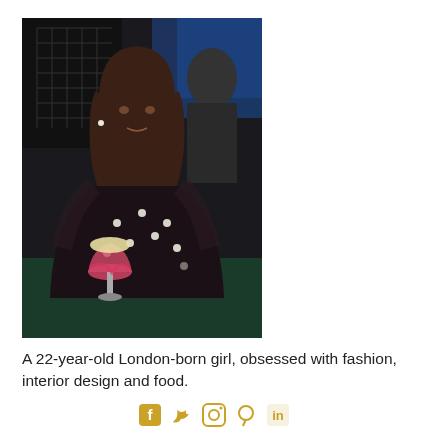[Figure (photo): A young woman in a black polka-dot top holding a cocktail glass, seated in a dimly lit bar/restaurant setting.]
A 22-year-old London-born girl, obsessed with fashion, interior design and food.
[Figure (illustration): Social media icons: Facebook, Twitter, Instagram, Pinterest, LinkedIn in gold/amber color.]